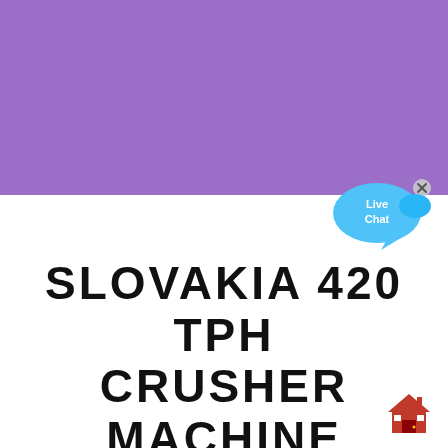[Figure (other): Purple/violet solid color background block occupying the top portion of the page]
[Figure (other): Live Chat speech bubble widget in cyan/blue color with 'Live Chat' text and an X close button, positioned at the top-right of the lower white section]
SLOVAKIA 420 TPH CRUSHER MACHINE
[Figure (other): Red house/home icon emoji in the bottom-right corner]